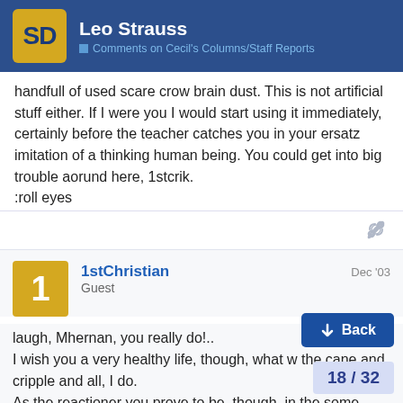Leo Strauss | Comments on Cecil's Columns/Staff Reports
handfull of used scare crow brain dust. This is not artificial stuff either. If I were you I would start using it immediately, certainly before the teacher catches you in your ersatz imitation of a thinking human being. You could get into big trouble aorund here, 1stcrik.
:roll eyes
1stChristian  Dec '03
Guest
laugh, Mhernan, you really do!..
I wish you a very healthy life, though, what w the cane and cripple and all, I do.
As the reactioner you prove to be, though, in the some questionable liberal principles, I wish you a long life...
Bye and bye, as all of you, you'll grow up a
worry